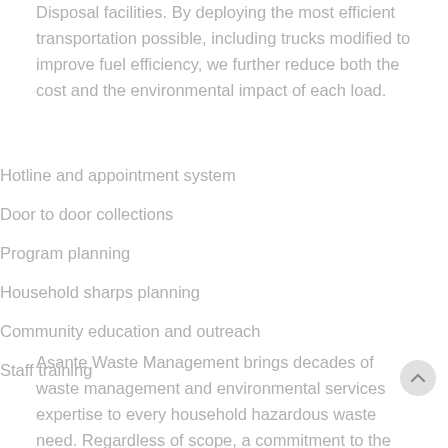Disposal facilities. By deploying the most efficient transportation possible, including trucks modified to improve fuel efficiency, we further reduce both the cost and the environmental impact of each load.
Hotline and appointment system
Door to door collections
Program planning
Household sharps planning
Community education and outreach
Staff training
Asante Waste Management brings decades of waste management and environmental services expertise to every household hazardous waste need. Regardless of scope, a commitment to the mission is always at the forefront of providing innovative and sustainable solutions to protect people and safeguard the